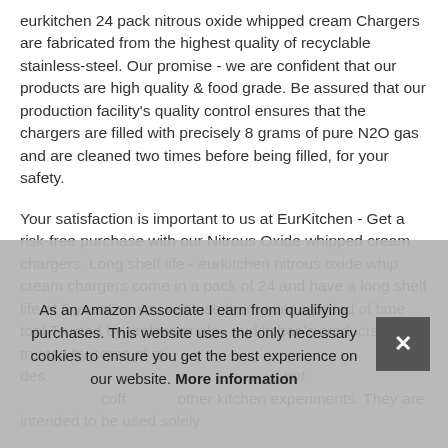eurkitchen 24 pack nitrous oxide whipped cream Chargers are fabricated from the highest quality of recyclable stainless-steel. Our promise - we are confident that our products are high quality & food grade. Be assured that our production facility's quality control ensures that the chargers are filled with precisely 8 grams of pure N2O gas and are cleaned two times before being filled, for your safety.
Your satisfaction is important to us at EurKitchen - Get a risk-free purchase with our Nitrous Oxide whipped cream chargers. Long shelf life - eurkitchen nitrous oxide whip cream chargers come in a pack of 24 and have a long shelf life of 5 years so you can use them over a period of time too! Trusted by professionals - eurkitchen's products are trusted by some of m... des... not ... coff... other kitchen experiments. They are intended to be used solely
As an Amazon Associate I earn from qualifying purchases. This website uses the only necessary cookies to ensure you get the best experience on our website. More information